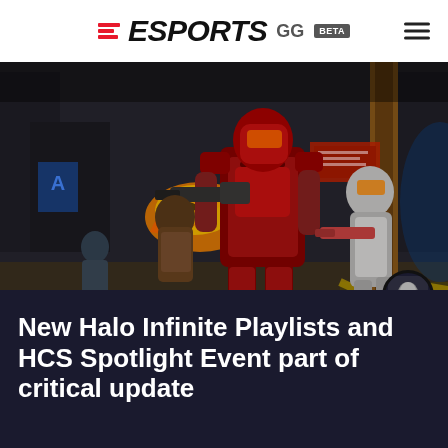ESPORTS.GG BETA
[Figure (photo): Halo Infinite game screenshot showing armored Spartan soldiers in combat. A large red-armored Spartan is in the foreground holding a weapon, with other Spartans and a fiery explosion visible in a sci-fi indoor environment.]
New Halo Infinite Playlists and HCS Spotlight Event part of critical update